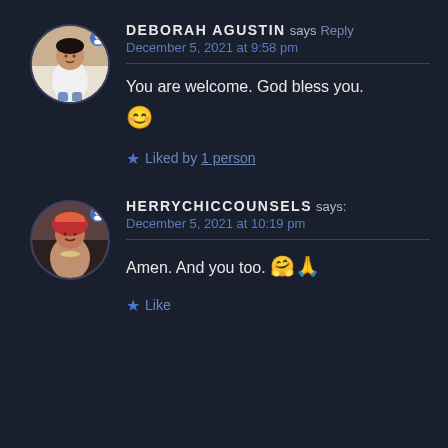DEBORAH AGUSTIN says: Reply
December 5, 2021 at 9:58 pm
You are welcome. God bless you. 😊
★ Liked by 1 person
HERRYCHICCOUNSELS says:
December 5, 2021 at 10:19 pm
Amen. And you too. 🤗🙏
★ Like